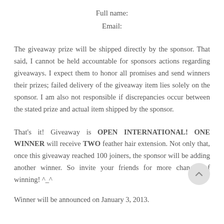Full name:
Email:
The giveaway prize will be shipped directly by the sponsor. That said, I cannot be held accountable for sponsors actions regarding giveaways. I expect them to honor all promises and send winners their prizes; failed delivery of the giveaway item lies solely on the sponsor. I am also not responsible if discrepancies occur between the stated prize and actual item shipped by the sponsor.
That's it! Giveaway is OPEN INTERNATIONAL! ONE WINNER will receive TWO feather hair extension. Not only that, once this giveaway reached 100 joiners, the sponsor will be adding another winner. So invite your friends for more chances of winning! ^_^
Winner will be announced on January 3, 2013.